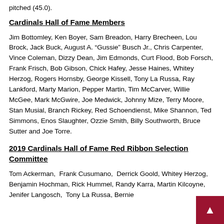pitched (45.0).
Cardinals Hall of Fame Members
Jim Bottomley, Ken Boyer, Sam Breadon, Harry Brecheen, Lou Brock, Jack Buck, August A. “Gussie” Busch Jr., Chris Carpenter, Vince Coleman, Dizzy Dean, Jim Edmonds, Curt Flood, Bob Forsch, Frank Frisch, Bob Gibson, Chick Hafey, Jesse Haines, Whitey Herzog, Rogers Hornsby, George Kissell, Tony La Russa, Ray Lankford, Marty Marion, Pepper Martin, Tim McCarver, Willie McGee, Mark McGwire, Joe Medwick, Johnny Mize, Terry Moore, Stan Musial, Branch Rickey, Red Schoendienst, Mike Shannon, Ted Simmons, Enos Slaughter, Ozzie Smith, Billy Southworth, Bruce Sutter and Joe Torre.
2019 Cardinals Hall of Fame Red Ribbon Selection Committee
Tom Ackerman,  Frank Cusumano,  Derrick Goold, Whitey Herzog, Benjamin Hochman, Rick Hummel, Randy Karra, Martin Kilcoyne, Jenifer Langosch,  Tony La Russa, Bernie